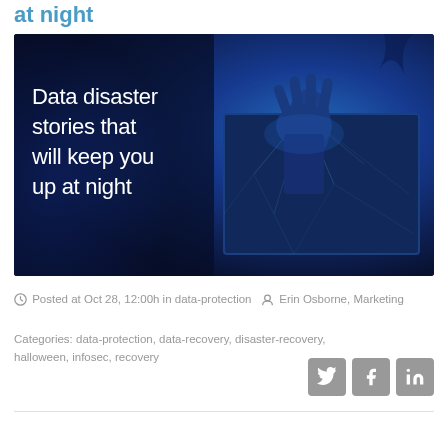at night
[Figure (illustration): Dark blue toned hero image showing a hand reaching through a cracked/shattered computer monitor screen, with text overlay reading: Data disaster stories that will keep you up at night]
Posted at Oct 28, 12:00h in data-protection  Erin Osborne, Marketing
Categories: data-protection, data-recovery, disaster-recovery, halloween, infosec, recovery